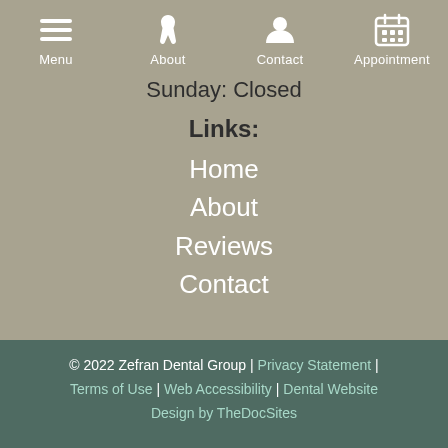Menu | About | Contact | Appointment
Sunday: Closed
Links:
Home
About
Reviews
Contact
© 2022 Zefran Dental Group | Privacy Statement | Terms of Use | Web Accessibility | Dental Website Design by TheDocSites